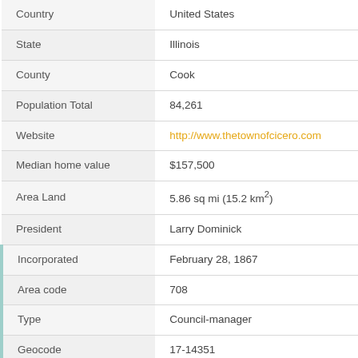| Field | Value |
| --- | --- |
| Country | United States |
| State | Illinois |
| County | Cook |
| Population Total | 84,261 |
| Website | http://www.thetownofcicero.com |
| Median home value | $157,500 |
| Area Land | 5.86 sq mi (15.2 km²) |
| President | Larry Dominick |
| Incorporated | February 28, 1867 |
| Area code | 708 |
| Type | Council-manager |
| Geocode | 17-14351 |